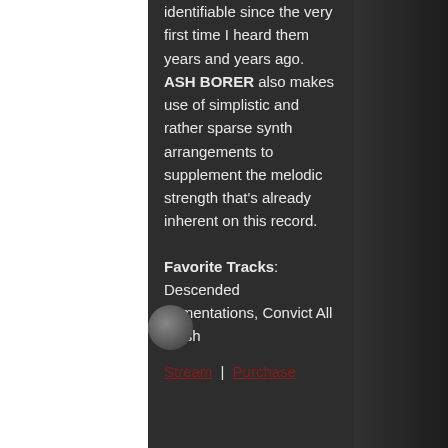identifiable since the very first time I heard them years and years ago. ASH BORER also makes use of simplistic and rather sparse synth arrangements to supplement the melodic strength that's already inherent on this record.
Favorite Tracks: Descended Lamentations, Convict All Flesh Stream | Purchase